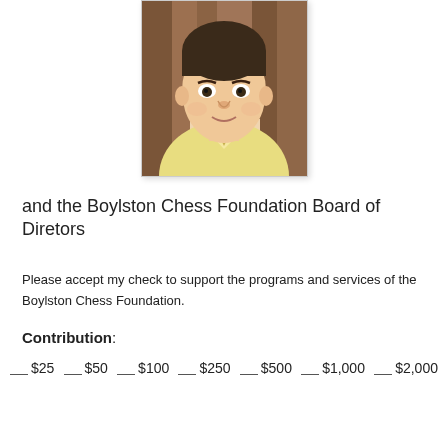[Figure (photo): Headshot photo of a man in a yellow shirt against a wood-paneled background.]
and the Boylston Chess Foundation Board of Diretors
Please accept my check to support the programs and services of the Boylston Chess Foundation.
Contribution:
__ $25    __ $50   __ $100   __ $250   __ $500   __ $1,000   __ $2,000